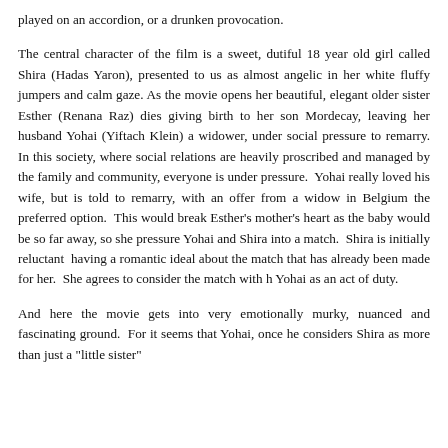played on an accordion, or a drunken provocation.
The central character of the film is a sweet, dutiful 18 year old girl called Shira (Hadas Yaron), presented to us as almost angelic in her white fluffy jumpers and calm gaze. As the movie opens her beautiful, elegant older sister Esther (Renana Raz) dies giving birth to her son Mordecay, leaving her husband Yohai (Yiftach Klein) a widower, under social pressure to remarry. In this society, where social relations are heavily proscribed and managed by the family and community, everyone is under pressure.  Yohai really loved his wife, but is told to remarry, with an offer from a widow in Belgium the preferred option.  This would break Esther's mother's heart as the baby would be so far away, so she pressure Yohai and Shira into a match.  Shira is initially reluctant  having a romantic ideal about the match that has already been made for her.  She agrees to consider the match with h Yohai as an act of duty.
And here the movie gets into very emotionally murky, nuanced and fascinating ground.  For it seems that Yohai, once he considers Shira as more than just a "little sister"